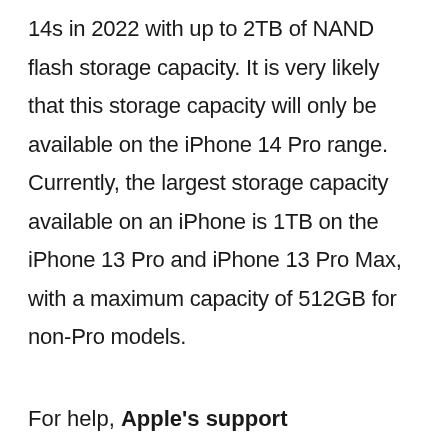14s in 2022 with up to 2TB of NAND flash storage capacity. It is very likely that this storage capacity will only be available on the iPhone 14 Pro range. Currently, the largest storage capacity available on an iPhone is 1TB on the iPhone 13 Pro and iPhone 13 Pro Max, with a maximum capacity of 512GB for non-Pro models.
For help, Apple's support